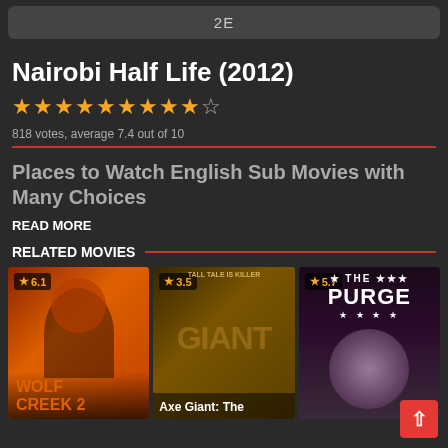2E
Nairobi Half Life (2012)
818 votes, average 7.4 out of 10
Places to Watch English Sub Movies with Many Choices
READ MORE
RELATED MOVIES
[Figure (screenshot): Movie poster for Wolf Creek 2 with rating 6.1]
[Figure (screenshot): Movie poster for Axe Giant: The with rating 3.5]
[Figure (screenshot): Movie poster for The Purge with rating 5.7]